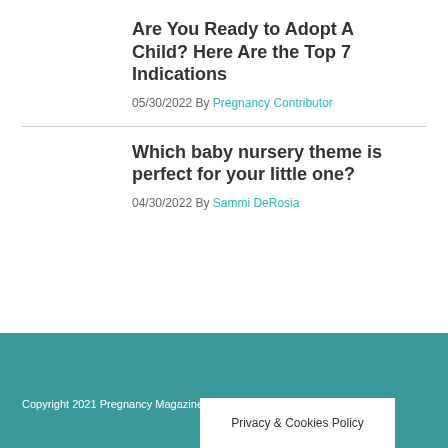Are You Ready to Adopt A Child? Here Are the Top 7 Indications
05/30/2022 By Pregnancy Contributor
Which baby nursery theme is perfect for your little one?
04/30/2022 By Sammi DeRosia
Copyright 2021 Pregnancy Magazine Group
Privacy & Cookies Policy